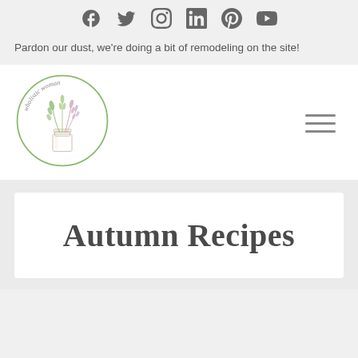[Social icons: Facebook, Twitter, Instagram, LinkedIn, Pinterest, YouTube]
Pardon our dust, we're doing a bit of remodeling on the site!
[Figure (logo): Wholistic Woman circular logo with botanical illustration of plants in a mason jar, green circle border, cursive text reading 'wholistic woman']
Autumn Recipes